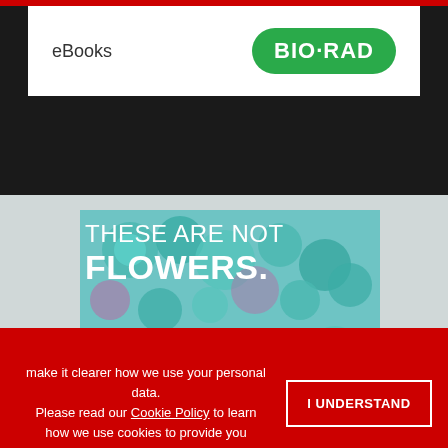eBooks
[Figure (logo): BIO-RAD logo in green rounded rectangle]
[Figure (photo): Microscopy image showing tissue that resembles flowers, with text overlay: THESE ARE NOT FLOWERS.]
make it clearer how we use your personal data. Please read our Cookie Policy to learn how we use cookies to provide you
[Figure (infographic): Somalogic advertisement: Discovery and validation from the broadest proteomics assay]
ADVERTISEMENT